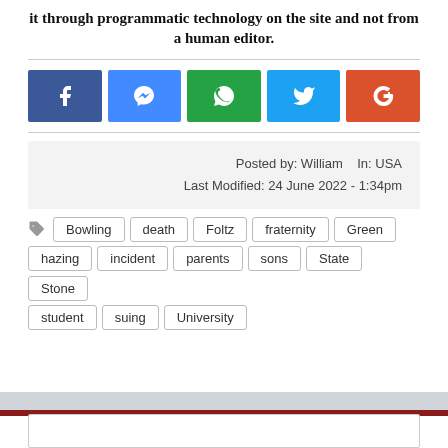it through programmatic technology on the site and not from a human editor.
[Figure (infographic): Row of 5 social media share buttons: Facebook (blue), Messenger (blue), WhatsApp (teal/green), Twitter (light blue), Google+ (orange-red)]
Posted by: William   In: USA
Last Modified: 24 June 2022 - 1:34pm
Bowling
death
Foltz
fraternity
Green
hazing
incident
parents
sons
State
Stone
student
suing
University